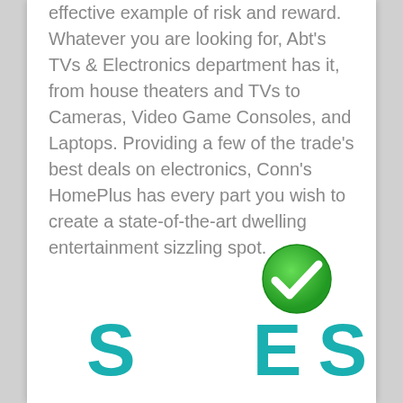effective example of risk and reward. Whatever you are looking for, Abt's TVs & Electronics department has it, from house theaters and TVs to Cameras, Video Game Consoles, and Laptops. Providing a few of the trade's best deals on electronics, Conn's HomePlus has every part you wish to create a state-of-the-art dwelling entertainment sizzling spot.
[Figure (illustration): Green circle checkmark icon (check/tick mark on green background)]
S E S